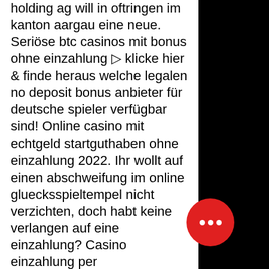holding ag will in oftringen im kanton aargau eine neue. Seriöse btc casinos mit bonus ohne einzahlung ▷ klicke hier &amp; finde heraus welche legalen no deposit bonus anbieter für deutsche spieler verfügbar sind! Online casino mit echtgeld startguthaben ohne einzahlung 2022. Ihr wollt auf einen abschweifung im online gluecksspieltempel nicht verzichten, doch habt keine verlangen auf eine einzahlung? Casino einzahlung per telefonrechnung. Btc &amp; crypto casino no deposit bonus: informieren sie sich über die neuesten bonusangebote. Arten von boni ohne einzahlung in btc-casinos. Finden sie hier die besten bitcoin glücksspiel casinos im test für deutsche spieler 2022. Bekomme bitcoins ohne einzahlung! btc online casino vergleich auf Deutsche echtgeld casinos mit bitcoins 🔒. Ein bonus ohne einzahlung ist häufig die erste erfahrung eines spielers den casinoseiten. Bitcoin-casinos mit bonus ohne einzahlung und bonusfreispielen.